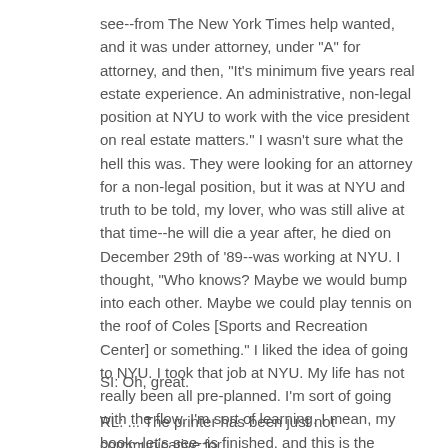see--from The New York Times help wanted, and it was under attorney, under "A" for attorney, and then, "It's minimum five years real estate experience. An administrative, non-legal position at NYU to work with the vice president on real estate matters." I wasn't sure what the hell this was. They were looking for an attorney for a non-legal position, but it was at NYU and truth to be told, my lover, who was still alive at that time--he will die a year after, he died on December 29th of '89--was working at NYU. I thought, "Who knows? Maybe we would bump into each other. Maybe we could play tennis on the roof of Coles [Sports and Recreation Center] or something." I liked the idea of going to NYU. I took that job at NYU. My life has not really been all pre-planned. I'm sort of going with the flow. I'm sort of learning. I mean, my book--let's see--is finished, and this is the galley they sent me. It's ready to go, except the ...
SI: Oh, great.
RL: ... The printer has been just not communicative for